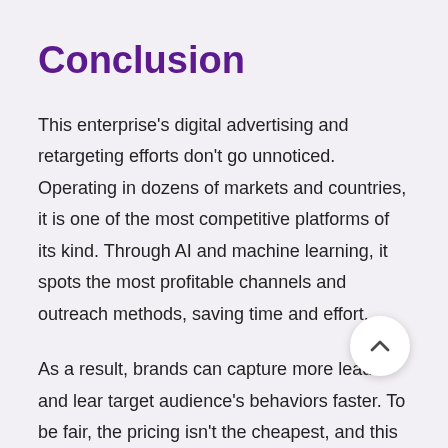Conclusion
This enterprise's digital advertising and retargeting efforts don't go unnoticed. Operating in dozens of markets and countries, it is one of the most competitive platforms of its kind. Through AI and machine learning, it spots the most profitable channels and outreach methods, saving time and effort.
As a result, brands can capture more leads and learn their target audience's behaviors faster. To be fair, the pricing isn't the cheapest, and this company isn't the best for